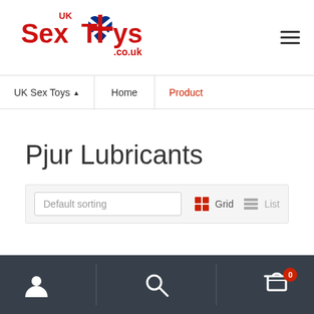[Figure (logo): UK Sex Toys .co.uk logo with Union Jack heart]
UK Sex Toys ▲  Home  Product
Pjur Lubricants
Default sorting  Grid  List
User icon | Search icon | Cart icon with badge 0